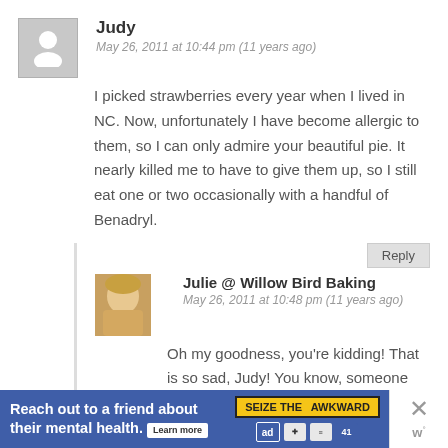Judy
May 26, 2011 at 10:44 pm (11 years ago)
I picked strawberries every year when I lived in NC. Now, unfortunately I have become allergic to them, so I can only admire your beautiful pie. It nearly killed me to have to give them up, so I still eat one or two occasionally with a handful of Benadryl.
Julie @ Willow Bird Baking
May 26, 2011 at 10:48 pm (11 years ago)
Oh my goodness, you're kidding! That is so sad, Judy! You know, someone asked if you could make this with other berries, and I don't
Reach out to a friend about their mental health. Learn more